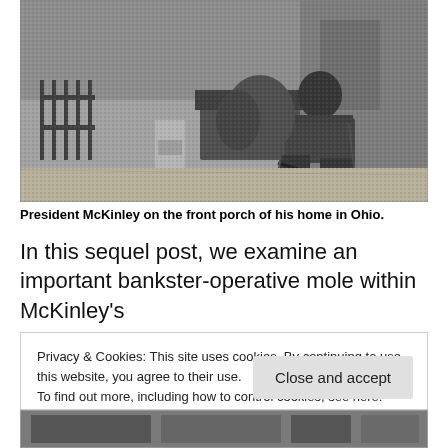[Figure (photo): Black and white historical photograph of President McKinley seated in a rocking chair on the front porch of his home in Ohio. The porch has decorative ironwork, benches, and pillars visible in the background.]
President McKinley on the front porch of his home in Ohio.
In this sequel post, we examine an important bankster-operative mole within McKinley's
Privacy & Cookies: This site uses cookies. By continuing to use this website, you agree to their use.
To find out more, including how to control cookies, see here: Cookie Policy
[Figure (screenshot): Partial image visible at the bottom of the page, appears to be another historical photograph partially cut off.]